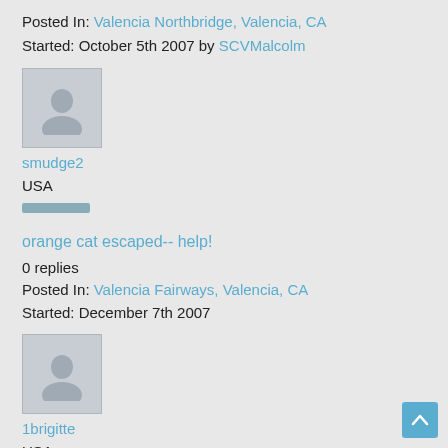Posted In: Valencia Northbridge, Valencia, CA
Started: October 5th 2007 by SCVMalcolm
[Figure (illustration): Default user avatar silhouette icon with gray background]
smudge2
USA
orange cat escaped-- help!
0 replies
Posted In: Valencia Fairways, Valencia, CA
Started: December 7th 2007
[Figure (illustration): Default user avatar silhouette icon with gray background]
1brigitte
USA
two woman watch a lady fall in the street but do...
0 replies
Posted In: Northridge, CA Tags: Compassion , Safety , Crime
Started: July 20th 2021